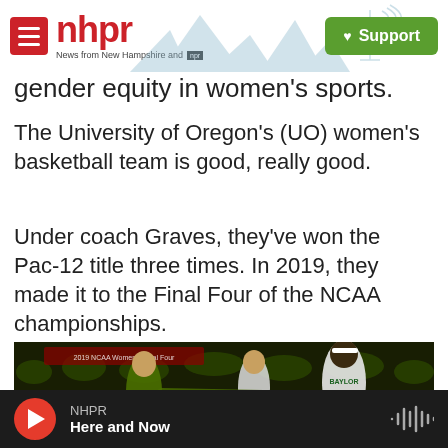nhpr — News from New Hampshire and NPR | Support
gender equity in women's sports.
The University of Oregon's (UO) women's basketball team is good, really good.
Under coach Graves, they've won the Pac-12 title three times. In 2019, they made it to the Final Four of the NCAA championships.
[Figure (photo): Basketball game photo showing University of Oregon women's basketball player in green/yellow uniform (#0) defending against a Baylor player (#15) in white uniform, with another player visible in the background. Text in background reads '2019 NCAA Women's Final Four'.]
NHPR — Here and Now